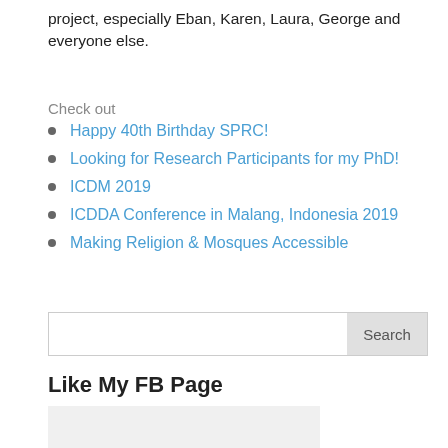project, especially Eban, Karen, Laura, George and everyone else.
Check out
Happy 40th Birthday SPRC!
Looking for Research Participants for my PhD!
ICDM 2019
ICDDA Conference in Malang, Indonesia 2019
Making Religion & Mosques Accessible
Search
Like My FB Page